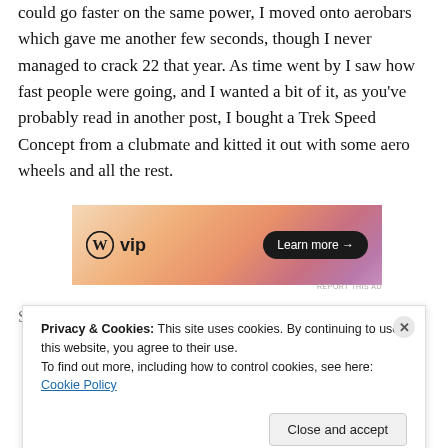could go faster on the same power, I moved onto aerobars which gave me another few seconds, though I never managed to crack 22 that year. As time went by I saw how fast people were going, and I wanted a bit of it, as you've probably read in another post, I bought a Trek Speed Concept from a clubmate and kitted it out with some aero wheels and all the rest.
[Figure (other): WordPress VIP advertisement banner with gradient orange-pink background showing WordPress W logo, 'vip' text, and a 'Learn more →' button in a black pill shape]
Since then my fascination with TTs has grown, and
Privacy & Cookies: This site uses cookies. By continuing to use this website, you agree to their use.
To find out more, including how to control cookies, see here: Cookie Policy
Close and accept